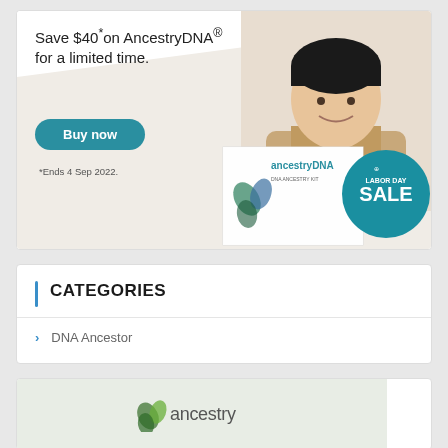[Figure (illustration): AncestryDNA Labor Day Sale advertisement showing a smiling man at a laptop, a Buy now button, AncestryDNA product box with a teal circle reading LABOR DAY SALE. Text: 'Save $40* on AncestryDNA® for a limited time.' and '*Ends 4 Sep 2022.']
CATEGORIES
DNA Ancestor
[Figure (logo): Ancestry logo on a light green/sage background]